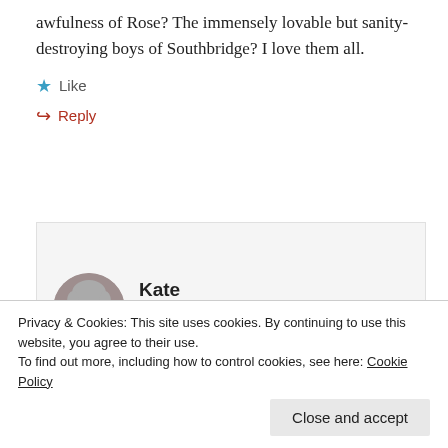awfulness of Rose? The immensely lovable but sanity-destroying boys of Southbridge? I love them all.
★ Like
↪ Reply
Kate
June 21, 2016 at 07:14
Privacy & Cookies: This site uses cookies. By continuing to use this website, you agree to their use.
To find out more, including how to control cookies, see here: Cookie Policy
Close and accept